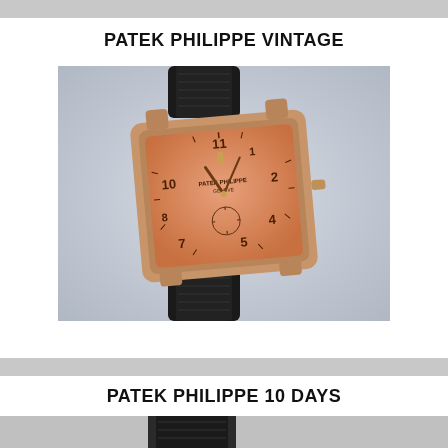PATEK PHILIPPE VINTAGE
[Figure (photo): Vintage Patek Philippe wristwatch with square rose gold case, salmon/copper dial with Arabic numerals, small seconds subdial, and black alligator leather strap, displayed at an angle on a light gray background.]
PATEK PHILIPPE 10 DAYS
[Figure (photo): Partial view of a second Patek Philippe watch at the bottom of the page, showing mainly the dark strap area.]